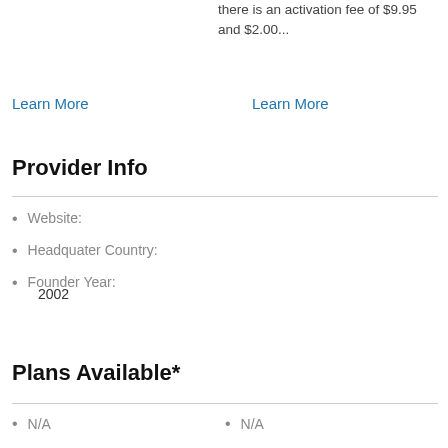there is an activation fee of $9.95 and $2.00...
Learn More
Learn More
Provider Info
Website:
Headquater Country:
Founder Year:
2002
Plans Available*
N/A
N/A